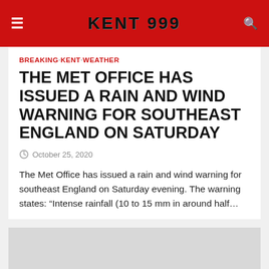KENT 999
BREAKING · KENT · WEATHER
THE MET OFFICE HAS ISSUED A RAIN AND WIND WARNING FOR SOUTHEAST ENGLAND ON SATURDAY
October 25, 2020
The Met Office has issued a rain and wind warning for southeast England on Saturday evening. The warning states: “Intense rainfall (10 to 15 mm in around half…
[Figure (photo): Placeholder image area at bottom of article]